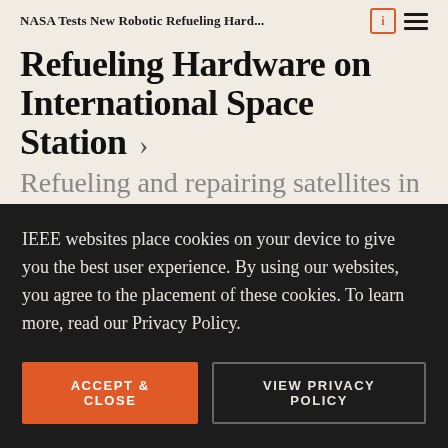NASA Tests New Robotic Refueling Hard...
Refueling Hardware on International Space Station
Refueling and repairing satellites in orbit could drastically lower costs, and NASA is working to make it
IEEE websites place cookies on your device to give you the best user experience. By using our websites, you agree to the placement of these cookies. To learn more, read our Privacy Policy.
ACCEPT & CLOSE
VIEW PRIVACY POLICY